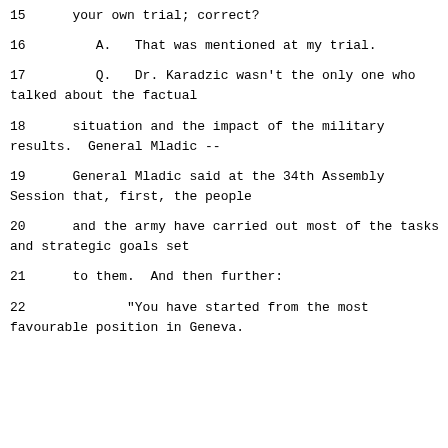15      your own trial; correct?
16         A.   That was mentioned at my trial.
17         Q.   Dr. Karadzic wasn't the only one who talked about the factual
18      situation and the impact of the military results.  General Mladic --
19      General Mladic said at the 34th Assembly Session that, first, the people
20      and the army have carried out most of the tasks and strategic goals set
21      to them.  And then further:
22             "You have started from the most favourable position in Geneva.